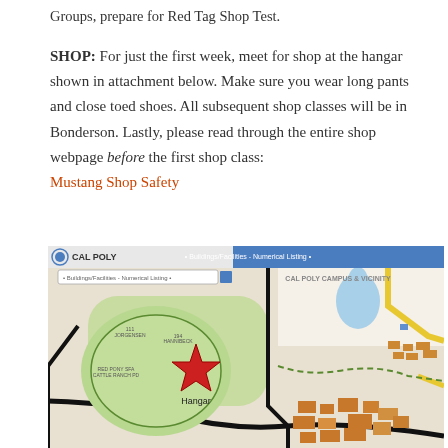Groups, prepare for Red Tag Shop Test.
SHOP: For just the first week, meet for shop at the hangar shown in attachment below. Make sure you wear long pants and close toed shoes. All subsequent shop classes will be in Bonderson. Lastly, please read through the entire shop webpage before the first shop class: Mustang Shop Safety
[Figure (map): Cal Poly campus map showing buildings/facilities with a red star marking the Hangar location]